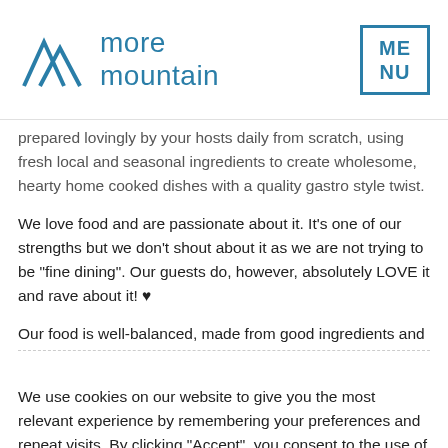[Figure (logo): More Mountain logo with mountain peak SVG icon and teal text, plus a teal bordered box with ME/NU text on the right]
prepared lovingly by your hosts daily from scratch, using fresh local and seasonal ingredients to create wholesome, hearty home cooked dishes with a quality gastro style twist.
We love food and are passionate about it. It's one of our strengths but we don't shout about it as we are not trying to be "fine dining". Our guests do, however, absolutely LOVE it and rave about it! ♥
Our food is well-balanced, made from good ingredients and
We use cookies on our website to give you the most relevant experience by remembering your preferences and repeat visits. By clicking "Accept", you consent to the use of ALL the